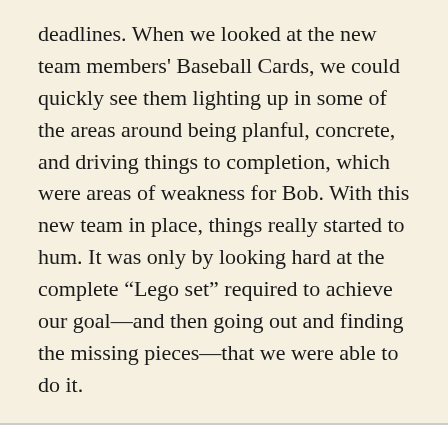deadlines. When we looked at the new team members' Baseball Cards, we could quickly see them lighting up in some of the areas around being planful, concrete, and driving things to completion, which were areas of weakness for Bob. With this new team in place, things really started to hum. It was only by looking hard at the complete “Lego set” required to achieve our goal—and then going out and finding the missing pieces—that we were able to do it.
Closing Thoughts
Am I convinced that Dalio’s central argument right? Yes, I am. There is real power that comes from